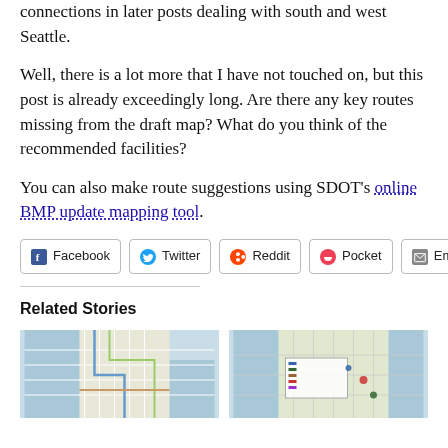connections in later posts dealing with south and west Seattle.
Well, there is a lot more that I have not touched on, but this post is already exceedingly long. Are there any key routes missing from the draft map? What do you think of the recommended facilities?
You can also make route suggestions using SDOT's online BMP update mapping tool.
[Figure (other): Social share buttons: Facebook, Twitter, Reddit, Pocket, Email]
Related Stories
[Figure (map): Map image 1 showing Seattle street network]
[Figure (map): Map image 2 showing Seattle street network with legend]